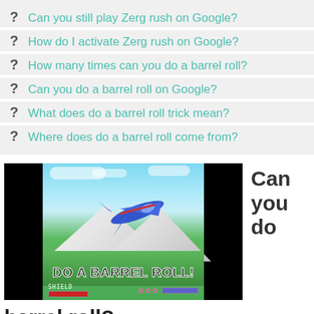Can you still play Zerg rush on Google?
How do I activate Zerg rush on Google?
How many times can you do a barrel roll?
Can you do a barrel roll on Google?
What does do a barrel roll trick mean?
Where does do a barrel roll come from?
[Figure (screenshot): Screenshot of a video game (Star Fox style) showing a plane doing a barrel roll with text 'DO A BARREL ROLL!' and HUD elements including SHIELD bar and star icons]
Can you do
barrel roll?